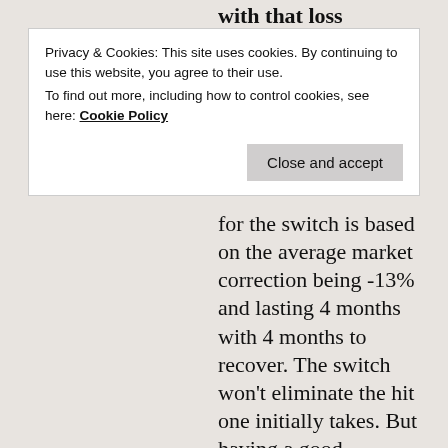with that loss occurring over a 5-6 month
Privacy & Cookies: This site uses cookies. By continuing to use this website, you agree to their use.
To find out more, including how to control cookies, see here: Cookie Policy
Close and accept
for the switch is based on the average market correction being -13% and lasting 4 months with 4 months to recover. The switch won’t eliminate the hit one initially takes. But having a good allocation of T-bonds gives one some dry powder of sorts to put to work on the recovery, which is typically very strong following a bear market. Clearly this won’t time things perfectly but it can provide significantly higher returns vs. being 100% in a balanced portfolio or 100% in stocks/S&P 500.